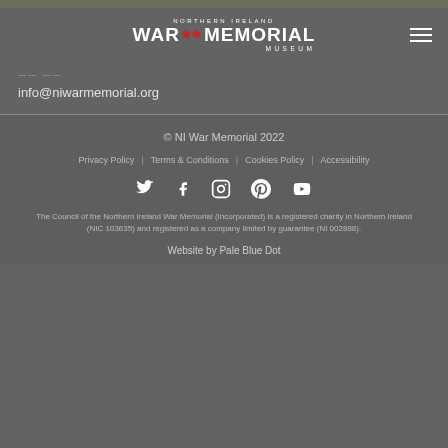[Figure (logo): Northern Ireland War Memorial Museum logo with poppy graphic]
info@niwarmemorial.org
© NI War Memorial 2022
Privacy Policy | Terms & Conditions | Cookies Policy | Accessibility
[Figure (illustration): Social media icons: Twitter, Facebook, Instagram, Pinterest, YouTube]
The Council of the Northern Ireland War Memorial (Incorporated) is a registered charity in Northern Ireland (NIC 103635) and registered as a company limited by guarantee (NI 002888).
Website by Pale Blue Dot